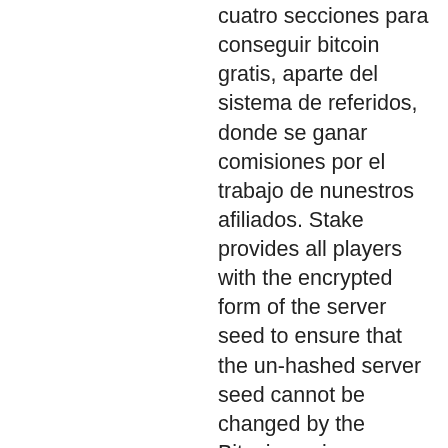cuatro secciones para conseguir bitcoin gratis, aparte del sistema de referidos, donde se ganar comisiones por el trabajo de nunestros afiliados. Stake provides all players with the encrypted form of the server seed to ensure that the un-hashed server seed cannot be changed by the Bitcoin casino operator, and that the player cannot calculate the results beforehand. To reveal the server seed from its hashed version, the seed must be rotated by the player, which triggers the replacement with a newly generated one, bitstarz casino бездепозитный бонус code. Provably Fair systems work based on cryptographic hash functions, bitstarz 20 gratissnurr. But what you don't know not all bitcoin casinos are provably fair. Not only this, but it also offers you to get a high referral/affiliate commission ranging from 40% to 80%, bitstarz kein einzahlungsbonus 20 бесплатные